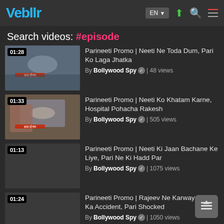Veblr — EN | upload | search | menu
Search videos: #episode
[Figure (screenshot): Video thumbnail 01:28 - Parineeti promo scene, person lying down]
Parineeti Promo | Neeti Ne Toda Dum, Pari Ko Laga Jhatka
By Bollywood Spy ✓ | 48 views
[Figure (screenshot): Video thumbnail 01:33 - Parineeti promo scene, man looking at person in hospital bed]
Parineeti Promo | Neeti Ko Khatam Karne, Hospital Pohacha Rakesh
By Bollywood Spy ✓ | 505 views
Parineeti Promo | Neeti Ki Jaan Bachane Ke Liye, Pari Ne Ki Hadd Par
By Bollywood Spy ✓ | 1075 views
Parineeti Promo | Rajeev Ne Karwaya Neeti Ka Accident, Pari Shocked
By Bollywood Spy ✓ | 1050 views